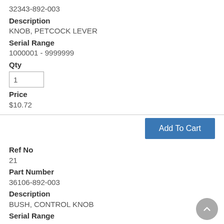32343-892-003
Description
KNOB, PETCOCK LEVER
Serial Range
1000001 - 9999999
Qty
1
Price
$10.72
Add To Cart
Ref No
21
Part Number
36106-892-003
Description
BUSH, CONTROL KNOB
Serial Range
1000001 - 9999999
Qty